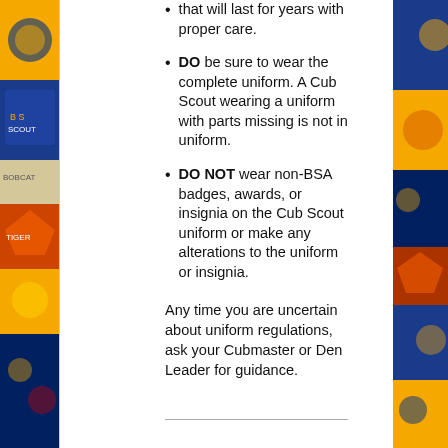[Figure (photo): Left side decorative photo strip showing Cub Scout patches and uniform elements on a blue and yellow background]
[Figure (photo): Right side decorative photo strip showing Cub Scout patches and uniform elements on a blue background]
that will last for years with proper care.
DO be sure to wear the complete uniform. A Cub Scout wearing a uniform with parts missing is not in uniform.
DO NOT wear non-BSA badges, awards, or insignia on the Cub Scout uniform or make any alterations to the uniform or insignia.
Any time you are uncertain about uniform regulations, ask your Cubmaster or Den Leader for guidance.